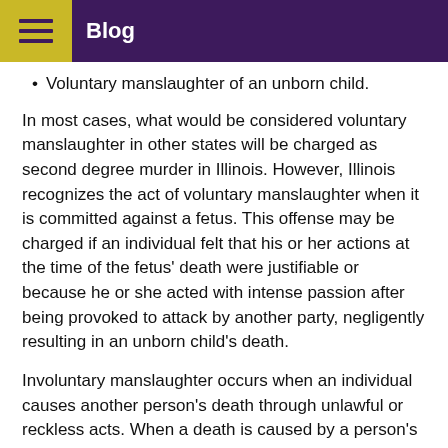Blog
Voluntary manslaughter of an unborn child.
In most cases, what would be considered voluntary manslaughter in other states will be charged as second degree murder in Illinois. However, Illinois recognizes the act of voluntary manslaughter when it is committed against a fetus. This offense may be charged if an individual felt that his or her actions at the time of the fetus' death were justifiable or because he or she acted with intense passion after being provoked to attack by another party, negligently resulting in an unborn child's death.
Involuntary manslaughter occurs when an individual causes another person's death through unlawful or reckless acts. When a death is caused by a person's operation of a motor vehicle, this is known as reckless homicide. A few examples of reckless and unlawful acts that can result in victims' deaths include:
The unlawful use of fireworks within an enclosed space.